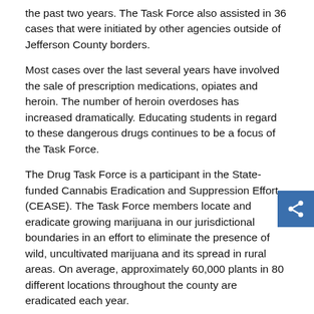the past two years.  The Task Force also assisted in 36 cases that were initiated by other agencies outside of Jefferson County borders.
Most cases over the last several years have involved the sale of prescription medications, opiates and heroin.  The number of heroin overdoses has increased dramatically.  Educating students in regard to these dangerous drugs continues to be a focus of the Task Force.
The Drug Task Force is a participant in the State-funded Cannabis Eradication and Suppression Effort (CEASE).  The Task Force members locate and eradicate growing marijuana in our jurisdictional boundaries in an effort to eliminate the presence of wild, uncultivated marijuana and its spread in rural areas.  On average, approximately 60,000 plants in 80 different locations throughout the county are eradicated each year.
The Jefferson County Drug Task Force also utilizes Wisconsin State Statutes which allow law enforcement agencies to seize property and cash used in the commission of drug felonies.  These seizures have totaled over $114,000.00 in assets taken during the past three years.  Those funds are used to enhance